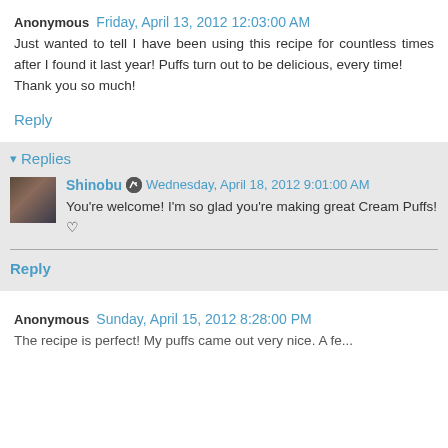Anonymous  Friday, April 13, 2012 12:03:00 AM
Just wanted to tell I have been using this recipe for countless times after I found it last year! Puffs turn out to be delicious, every time!
Thank you so much!
Reply
Replies
Shinobu  Wednesday, April 18, 2012 9:01:00 AM
You're welcome! I'm so glad you're making great Cream Puffs!♡
Reply
Anonymous  Sunday, April 15, 2012 8:28:00 PM
The recipe is perfect! My puffs came out very nice. A fe...